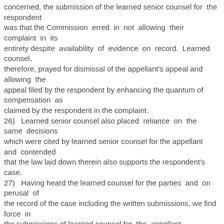concerned, the submission of the learned senior counsel for the respondent was that the Commission erred in not allowing their complaint in its entirety despite availability of evidence on record. Learned counsel, therefore, prayed for dismissal of the appellant's appeal and allowing the appeal filed by the respondent by enhancing the quantum of compensation as claimed by the respondent in the complaint. 26) Learned senior counsel also placed reliance on the same decisions which were cited by learned senior counsel for the appellant and contended that the law laid down therein also supports the respondent's case. 27) Having heard the learned counsel for the parties and on perusal of the record of the case including the written submissions, we find force in the submissions of learned counsel for the appellant (Insurance company